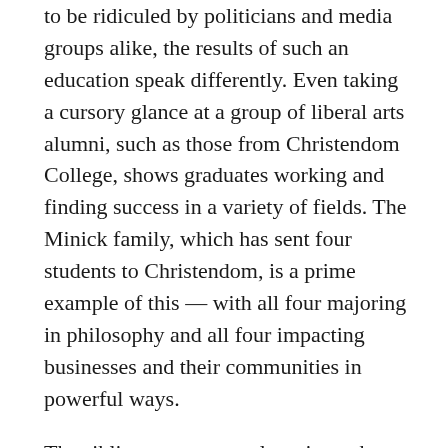to be ridiculed by politicians and media groups alike, the results of such an education speak differently. Even taking a cursory glance at a group of liberal arts alumni, such as those from Christendom College, shows graduates working and finding success in a variety of fields. The Minick family, which has sent four students to Christendom, is a prime example of this — with all four majoring in philosophy and all four impacting businesses and their communities in powerful ways.
The siblings were recently written about in Intellectual Takeout, shown as examples of what sort of graduates can be produced by a liberal arts college.